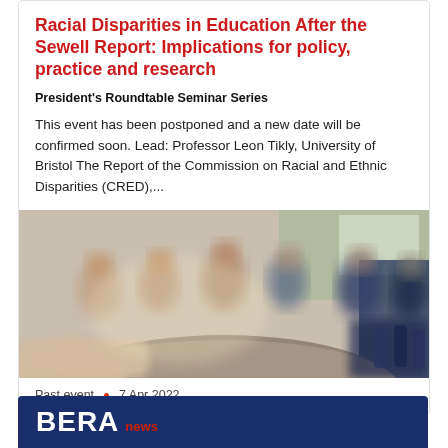Racial Disparities in Education After the Sewell Report: Implications for policy, practice and research
President's Roundtable Seminar Series
This event has been postponed and a new date will be confirmed soon. Lead: Professor Leon Tikly, University of Bristol The Report of the Commission on Racial and Ethnic Disparities (CRED),...
[Figure (photo): Blurred photo of people seated around a large round table in a bright meeting room, viewed from a low angle with a hand visible in the foreground.]
Past event  •  7 Apr 2022
BERA news